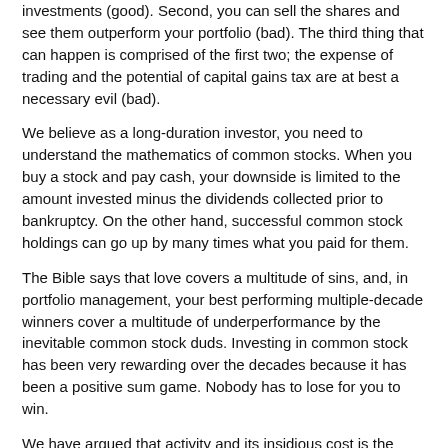investments (good). Second, you can sell the shares and see them outperform your portfolio (bad). The third thing that can happen is comprised of the first two; the expense of trading and the potential of capital gains tax are at best a necessary evil (bad).
We believe as a long-duration investor, you need to understand the mathematics of common stocks. When you buy a stock and pay cash, your downside is limited to the amount invested minus the dividends collected prior to bankruptcy. On the other hand, successful common stock holdings can go up by many times what you paid for them.
The Bible says that love covers a multitude of sins, and, in portfolio management, your best performing multiple-decade winners cover a multitude of underperformance by the inevitable common stock duds. Investing in common stock has been very rewarding over the decades because it has been a positive sum game. Nobody has to lose for you to win.
We have argued that activity and its insidious cost is the enemy of the active management industry. Warren Buffett says, "Excitement and expense are the enemy of your portfolio." A Financial Analysts Journal article from February 2013 showed that in the large-cap space, active managers averaged 62% turnover and incurred around 0.80% of annual expense. This rivals annual mutual fund expense as a cost. Every time you sell and buy a new